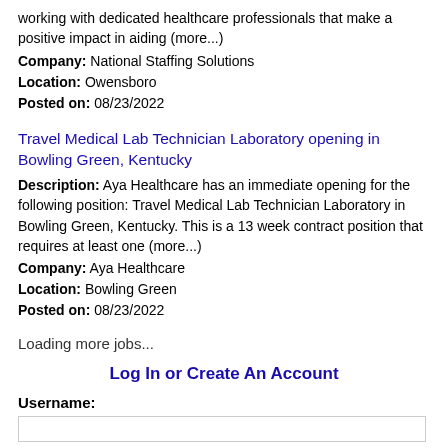working with dedicated healthcare professionals that make a positive impact in aiding (more...)
Company: National Staffing Solutions
Location: Owensboro
Posted on: 08/23/2022
Travel Medical Lab Technician Laboratory opening in Bowling Green, Kentucky
Description: Aya Healthcare has an immediate opening for the following position: Travel Medical Lab Technician Laboratory in Bowling Green, Kentucky. This is a 13 week contract position that requires at least one (more...)
Company: Aya Healthcare
Location: Bowling Green
Posted on: 08/23/2022
Loading more jobs...
Log In or Create An Account
Username: